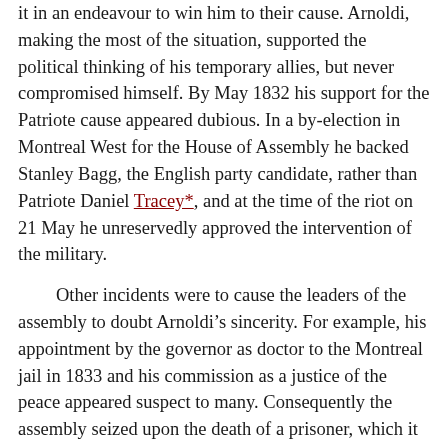it in an endeavour to win him to their cause. Arnoldi, making the most of the situation, supported the political thinking of his temporary allies, but never compromised himself. By May 1832 his support for the Patriote cause appeared dubious. In a by-election in Montreal West for the House of Assembly he backed Stanley Bagg, the English party candidate, rather than Patriote Daniel Tracey*, and at the time of the riot on 21 May he unreservedly approved the intervention of the military.

Other incidents were to cause the leaders of the assembly to doubt Arnoldi’s sincerity. For example, his appointment by the governor as doctor to the Montreal jail in 1833 and his commission as a justice of the peace appeared suspect to many. Consequently the assembly seized upon the death of a prisoner, which it attributed to the “culpable negligence” of the jailer and Arnoldi, as a pretext to request that he be dismissed as prison doctor. Relations between Arnoldi and his former allies deteriorated. Beaubien, in a letter written to Louis-Joseph